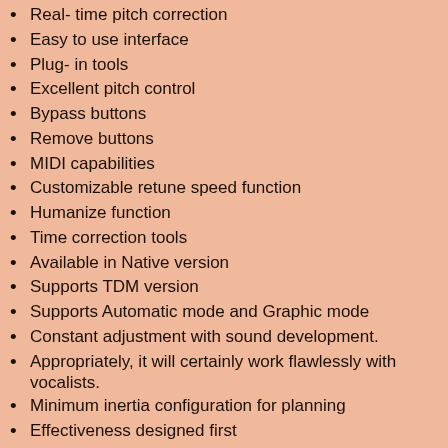Real- time pitch correction
Easy to use interface
Plug- in tools
Excellent pitch control
Bypass buttons
Remove buttons
MIDI capabilities
Customizable retune speed function
Humanize function
Time correction tools
Available in Native version
Supports TDM version
Supports Automatic mode and Graphic mode
Constant adjustment with sound development.
Appropriately, it will certainly work flawlessly with vocalists.
Minimum inertia configuration for planning
Effectiveness designed first
The visual establishment of competent people.
Ability to monitor through the reproduction of preliminaries